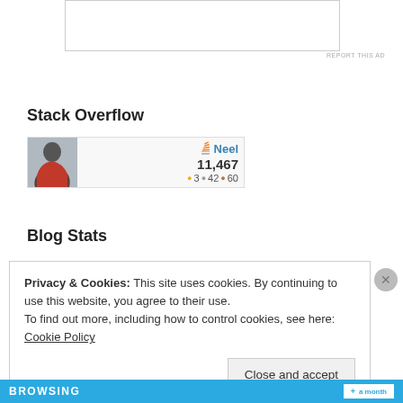[Figure (other): Advertisement placeholder box]
REPORT THIS AD
Stack Overflow
[Figure (other): Stack Overflow user card showing user Neel with 11,467 reputation, 3 gold badges, 42 silver badges, 60 bronze badges]
Blog Stats
Privacy & Cookies: This site uses cookies. By continuing to use this website, you agree to their use.
To find out more, including how to control cookies, see here: Cookie Policy
Close and accept
[Figure (other): Bottom advertisement bar with BROWSING text and a month button]